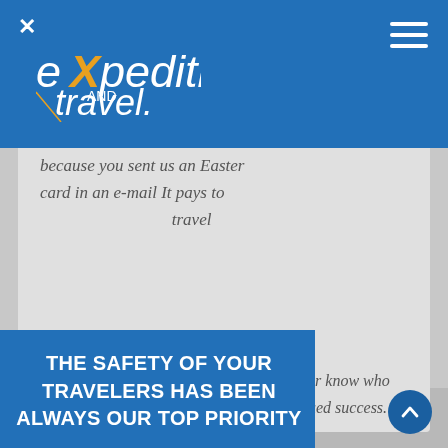expedition and travel - website header with logo and navigation
[Figure (screenshot): Expedition and Travel website logo with blue header bar, X close icon, and hamburger menu icon]
because you sent us an Easter card in an e-mail It pays to ... travel ... ever know who ... nued success.
THE SAFETY OF YOUR TRAVELERS HAS BEEN ALWAYS OUR TOP PRIORITY
Best wishes,